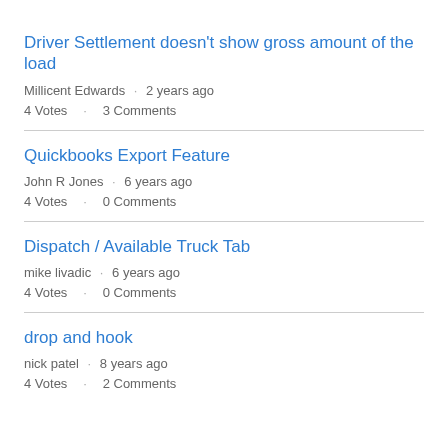Driver Settlement doesn't show gross amount of the load
Millicent Edwards · 2 years ago
4 Votes · 3 Comments
Quickbooks Export Feature
John R Jones · 6 years ago
4 Votes · 0 Comments
Dispatch / Available Truck Tab
mike livadic · 6 years ago
4 Votes · 0 Comments
drop and hook
nick patel · 8 years ago
4 Votes · 2 Comments